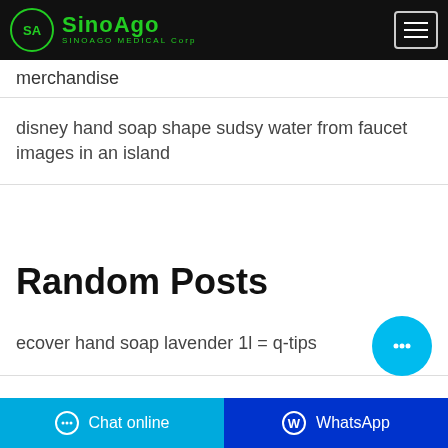SINOAGO MEDICAL Corp
merchandise
disney hand soap shape sudsy water from faucet images in an island
Random Posts
ecover hand soap lavender 1l = q-tips
hand soap 5l ecosystems word art in google
Chat online | WhatsApp